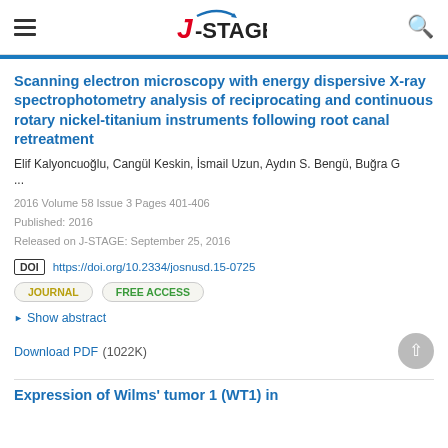J-STAGE
Scanning electron microscopy with energy dispersive X-ray spectrophotometry analysis of reciprocating and continuous rotary nickel-titanium instruments following root canal retreatment
Elif Kalyoncuoğlu, Cangül Keskin, İsmail Uzun, Aydın S. Bengü, Buğra G
...
2016 Volume 58 Issue 3 Pages 401-406
Published: 2016
Released on J-STAGE: September 25, 2016
DOI https://doi.org/10.2334/josnusd.15-0725
JOURNAL   FREE ACCESS
Show abstract
Download PDF (1022K)
Expression of Wilms' tumor 1 (WT1) in